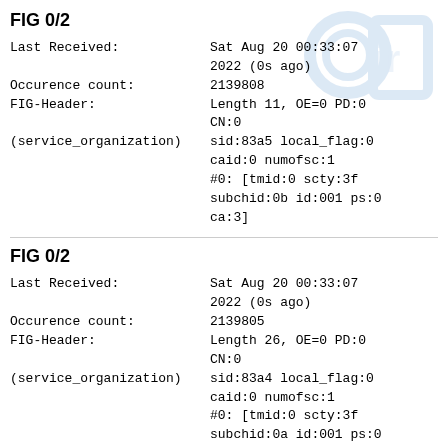FIG 0/2
Last Received:	Sat Aug 20 00:33:07
2022 (0s ago)
Occurence count:	2139808
FIG-Header:	Length 11, OE=0 PD:0
CN:0
(service_organization)	sid:83a5 local_flag:0
caid:0 numofsc:1
#0: [tmid:0 scty:3f
subchid:0b id:001 ps:0
ca:3]
FIG 0/2
Last Received:	Sat Aug 20 00:33:07
2022 (0s ago)
Occurence count:	2139805
FIG-Header:	Length 26, OE=0 PD:0
CN:0
(service_organization)	sid:83a4 local_flag:0
caid:0 numofsc:1
#0: [tmid:0 scty:3f
subchid:0a id:001 ps:0
ca:3]